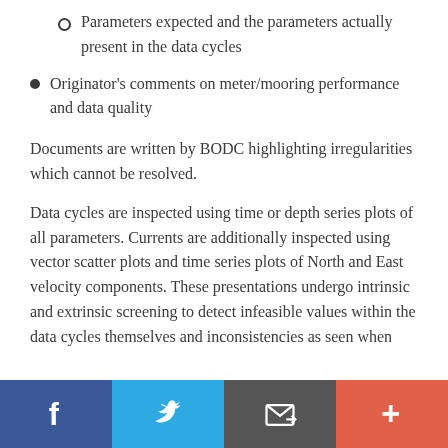Parameters expected and the parameters actually present in the data cycles
Originator's comments on meter/mooring performance and data quality
Documents are written by BODC highlighting irregularities which cannot be resolved.
Data cycles are inspected using time or depth series plots of all parameters. Currents are additionally inspected using vector scatter plots and time series plots of North and East velocity components. These presentations undergo intrinsic and extrinsic screening to detect infeasible values within the data cycles themselves and inconsistencies as seen when
Social sharing bar: Facebook, Twitter, Email, More